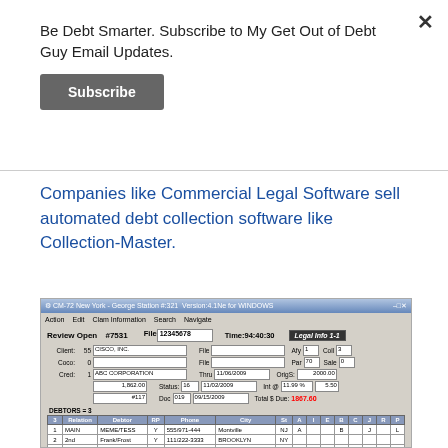Be Debt Smarter. Subscribe to My Get Out of Debt Guy Email Updates.
Subscribe
Companies like Commercial Legal Software sell automated debt collection software like Collection-Master.
[Figure (screenshot): Screenshot of Collection-Master debt collection software (CM-72 New York - George Station #:321 Version:4.1Ne for WINDOWS) showing a Review Open #7531 screen with client CISCO, INC., creditor ABC CORPORATION, file 12345678, time 94:40:30, Legal Info 1-1, debtors table with 3 rows: MAIN (MEME/TESS, 555/971-444, Montville, NJ), 2nd (Frank/Frost, 111/222-3333, BROOKLYN, NY), 3rd (Debtor/Joe, 555/555-9652, Lake Hopatcong, NJ). Total $ Due: 1867.60 shown in red.]